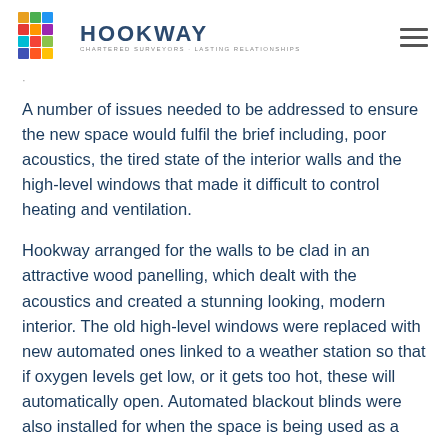HOOKWAY — CHARTERED SURVEYORS · LASTING RELATIONSHIPS
A number of issues needed to be addressed to ensure the new space would fulfil the brief including, poor acoustics, the tired state of the interior walls and the high-level windows that made it difficult to control heating and ventilation.
Hookway arranged for the walls to be clad in an attractive wood panelling, which dealt with the acoustics and created a stunning looking, modern interior. The old high-level windows were replaced with new automated ones linked to a weather station so that if oxygen levels get low, or it gets too hot, these will automatically open. Automated blackout blinds were also installed for when the space is being used as a